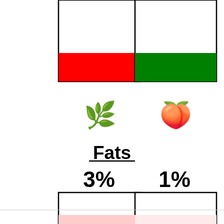[Figure (bar-chart): Bar chart comparing fat content. Two bars shown with colored fill at top (red for first item ~3%, green for second ~1%). Food icons shown (gooseberry and nectarine). Below title 'Fats', percentage labels 3% and 1% shown above mostly empty bars.]